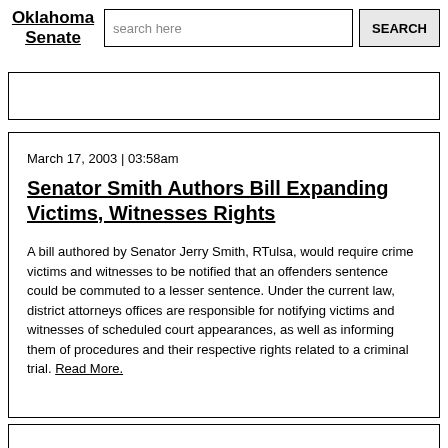Oklahoma Senate
search here
March 17, 2003 | 03:58am
Senator Smith Authors Bill Expanding Victims, Witnesses Rights
A bill authored by Senator Jerry Smith, RTulsa, would require crime victims and witnesses to be notified that an offenders sentence could be commuted to a lesser sentence. Under the current law, district attorneys offices are responsible for notifying victims and witnesses of scheduled court appearances, as well as informing them of procedures and their respective rights related to a criminal trial. Read More.